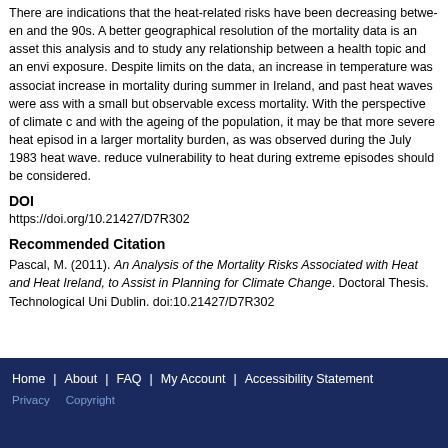There are indications that the heat-related risks have been decreasing between the 80s and the 90s. A better geographical resolution of the mortality data is an asset to this analysis and to study any relationship between a health topic and an environmental exposure. Despite limits on the data, an increase in temperature was associated with an increase in mortality during summer in Ireland, and past heat waves were associated with a small but observable excess mortality. With the perspective of climate change and with the ageing of the population, it may be that more severe heat episodes result in a larger mortality burden, as was observed during the July 1983 heat wave. Measures to reduce vulnerability to heat during extreme episodes should be considered.
DOI
https://doi.org/10.21427/D7R302
Recommended Citation
Pascal, M. (2011). An Analysis of the Mortality Risks Associated with Heat and Heat Waves in Ireland, to Assist in Planning for Climate Change. Doctoral Thesis. Technological University Dublin. doi:10.21427/D7R302
Home | About | FAQ | My Account | Accessibility Statement Privacy Copyright